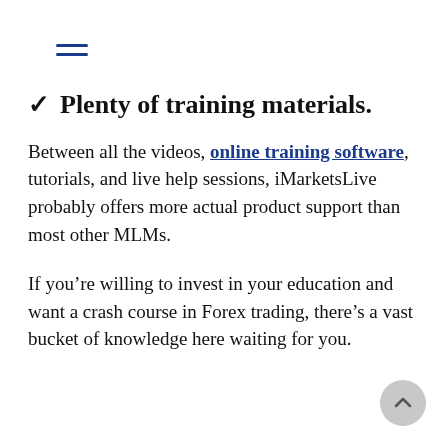☰ (hamburger menu icon)
✓ Plenty of training materials.
Between all the videos, online training software, tutorials, and live help sessions, iMarketsLive probably offers more actual product support than most other MLMs.
If you're willing to invest in your education and want a crash course in Forex trading, there's a vast bucket of knowledge here waiting for you.